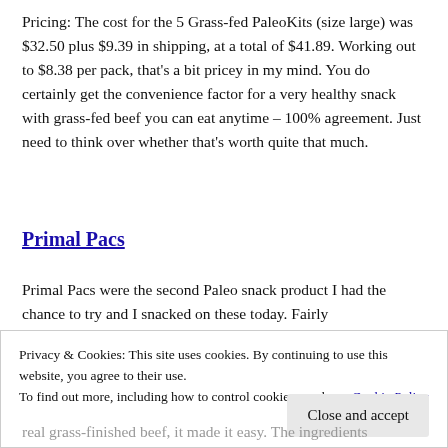Pricing: The cost for the 5 Grass-fed PaleoKits (size large) was $32.50 plus $9.39 in shipping, at a total of $41.89. Working out to $8.38 per pack, that's a bit pricey in my mind. You do certainly get the convenience factor for a very healthy snack with grass-fed beef you can eat anytime – 100% agreement. Just need to think over whether that's worth quite that much.
Primal Pacs
Primal Pacs were the second Paleo snack product I had the chance to try and I snacked on these today. Fairly
Privacy & Cookies: This site uses cookies. By continuing to use this website, you agree to their use.
To find out more, including how to control cookies, see here: Cookie Policy
Close and accept
real grass-finished beef, it made it easy. The ingredients